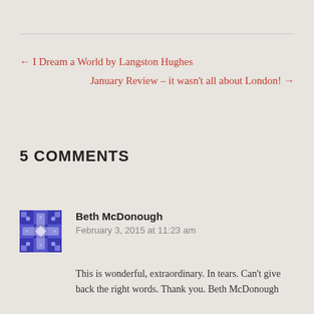← I Dream a World by Langston Hughes
January Review – it wasn't all about London! →
5 COMMENTS
Beth McDonough
February 3, 2015 at 11:23 am
This is wonderful, extraordinary. In tears. Can't give back the right words. Thank you. Beth McDonough
Liked by 1 person